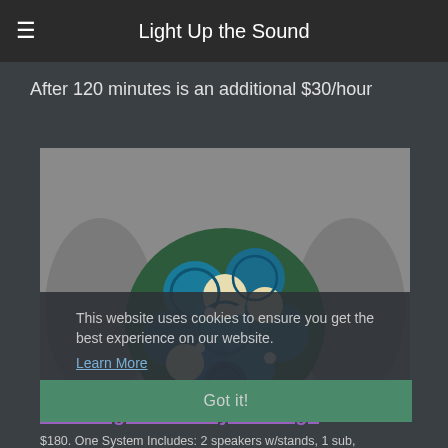Light Up the Sound
After 120 minutes is an additional $30/hour
[Figure (photo): Person in gray dress holding a round wedding bouquet of teal/blue and cream roses]
This website uses cookies to ensure you get the best experience on our website. Learn More
Got it!
Wedding Ceremony Package
$180. One System Includes: 2 speakers w/stands, 1 sub,